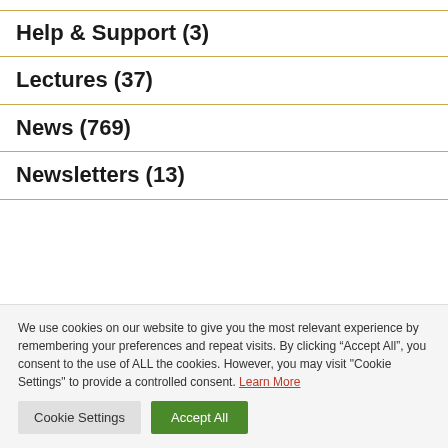Help & Support (3)
Lectures (37)
News (769)
Newsletters (13)
We use cookies on our website to give you the most relevant experience by remembering your preferences and repeat visits. By clicking “Accept All”, you consent to the use of ALL the cookies. However, you may visit "Cookie Settings" to provide a controlled consent. Learn More